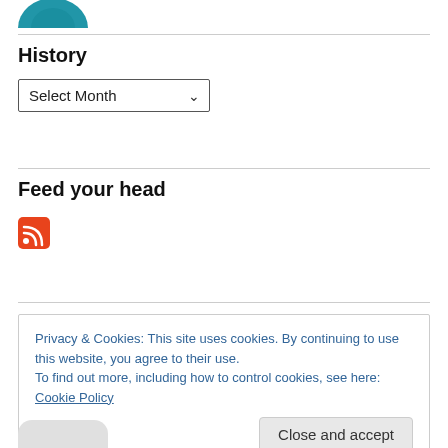[Figure (logo): Partial blue circular logo at top left, cropped]
History
Select Month (dropdown)
Feed your head
[Figure (illustration): RSS feed icon - red rounded square with white wifi/signal symbol]
Privacy & Cookies: This site uses cookies. By continuing to use this website, you agree to their use.
To find out more, including how to control cookies, see here: Cookie Policy
Close and accept